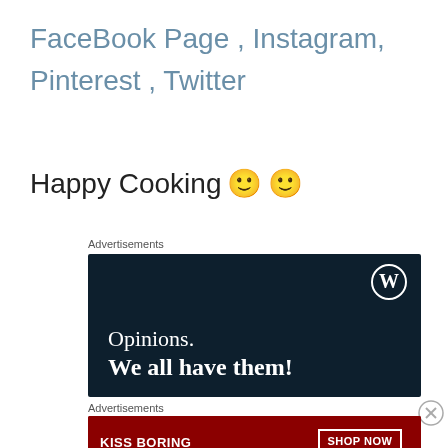FaceBook Page , Instagram, Pinterest , Twitter
Happy Cooking 🙂 🙂
Advertisements
[Figure (screenshot): WordPress advertisement banner with dark navy background, WordPress logo (W in circle) top right, text 'Opinions. We all have them!']
Advertisements
[Figure (screenshot): Macy's advertisement banner with red background, text 'KISS BORING LIPS GOODBYE', 'SHOP NOW' button, and Macy's logo with star]